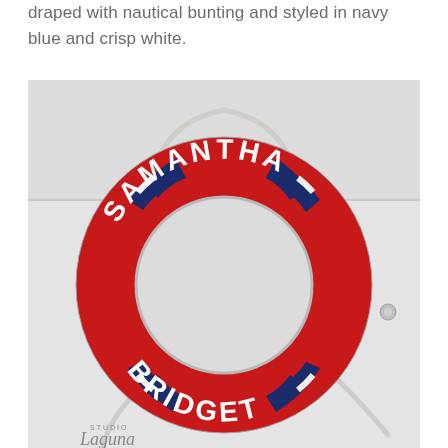draped with nautical bunting and styled in navy blue and crisp white.
[Figure (photo): A red, white, and navy blue life preserver ring mounted on a white wall. The top arc reads 'SAMANTHA' and the bottom arc reads 'BRIDGET' in white letters. The ring has navy blue stripe accents and white rope attached. A 'Studio Laguna' watermark appears in the bottom-left corner.]